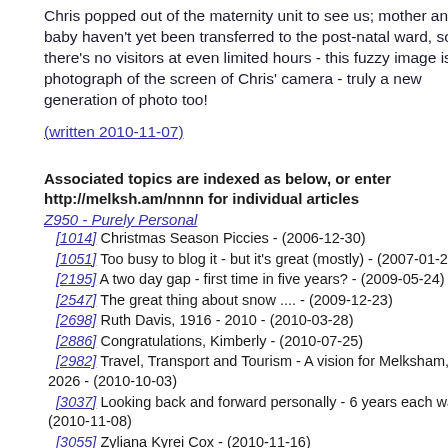Chris popped out of the maternity unit to see us; mother and baby haven't yet been transferred to the post-natal ward, so there's no visitors at even limited hours - this fuzzy image is a photograph of the screen of Chris' camera - truly a new generation of photo too!
(written 2010-11-07)
Associated topics are indexed as below, or enter http://melksh.am/nnnn for individual articles
Z950 - Purely Personal
[1014] Christmas Season Piccies - (2006-12-30)
[1051] Too busy to blog it - but it's great (mostly) - (2007-01-24)
[2195] A two day gap - first time in five years? - (2009-05-24)
[2547] The great thing about snow .... - (2009-12-23)
[2698] Ruth Davis, 1916 - 2010 - (2010-03-28)
[2886] Congratulations, Kimberly - (2010-07-25)
[2982] Travel, Transport and Tourism - A vision for Melksham, 2026 - (2010-10-03)
[3037] Looking back and forward personally - 6 years each way - (2010-11-08)
[3055] Zyliana Kyrei Cox - (2010-11-16)
[3108] My First Christmas - (2010-12-26)